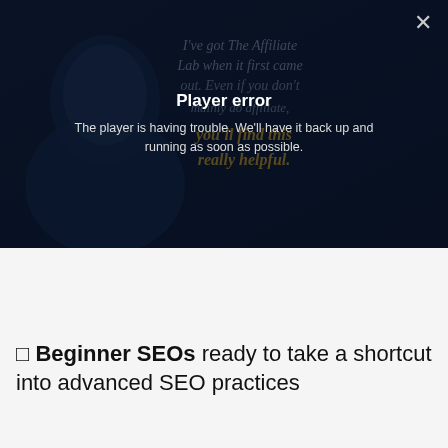[Figure (screenshot): Video player with error overlay showing 'Player error' message and background text about The Affiliate Lab. A dark themed video player with a close (X) button in the top right. Background shows a person and text: 'I've got The Affiliate Lab when it first came out. Even if you don't mainly do affiliate, you'll find this really helpful.' Center overlay shows bold white text 'Player error' and below it 'The player is having trouble. We'll have it back up and running as soon as possible.']
✓ Beginner SEOs ready to take a shortcut into advanced SEO practices